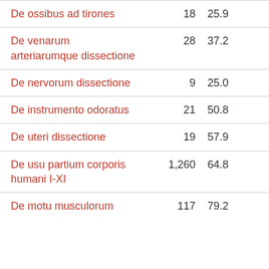| De ossibus ad tirones | 18 | 25.9 |
| De venarum arteriarumque dissectione | 28 | 37.2 |
| De nervorum dissectione | 9 | 25.0 |
| De instrumento odoratus | 21 | 50.8 |
| De uteri dissectione | 19 | 57.9 |
| De usu partium corporis humani I-XI | 1,260 | 64.8 |
| De motu musculorum | 117 | 79.2 |